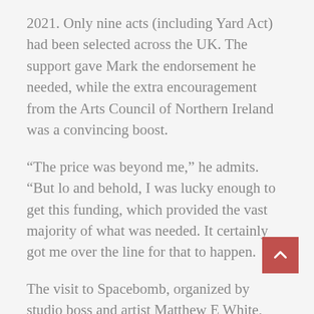2021. Only nine acts (including Yard Act) had been selected across the UK. The support gave Mark the endorsement he needed, while the extra encouragement from the Arts Council of Northern Ireland was a convincing boost.
“The price was beyond me,” he admits. “But lo and behold, I was lucky enough to get this funding, which provided the vast majority of what was needed. It certainly got me over the line for that to happen.
The visit to Spacebomb, organized by studio boss and artist Matthew E White, was extremely productive. Even the songs’ unfinished mixes have a gorgeous flow and late-night quality that’s been enhanced by the strings, brass and woodwinds. Fittingly, there’s a new track called Dream in another language.
On the last day at the studio, he could hear the